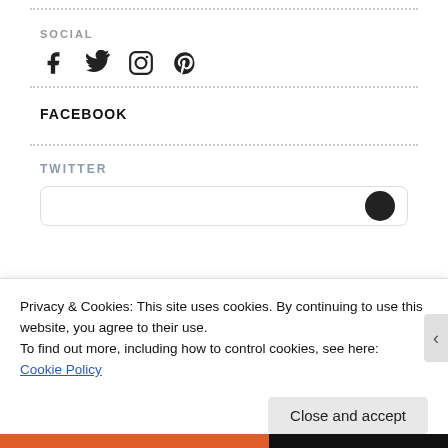SOCIAL
[Figure (illustration): Social media icons: Facebook, Twitter, Instagram, Pinterest]
FACEBOOK
TWITTER
Privacy & Cookies: This site uses cookies. By continuing to use this website, you agree to their use.
To find out more, including how to control cookies, see here: Cookie Policy
Close and accept